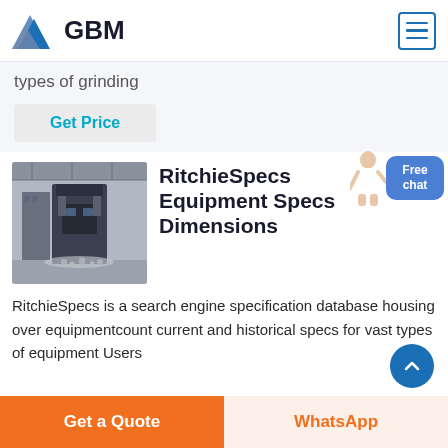GBM
types of grinding
Get Price
[Figure (photo): Industrial grinding/pressing equipment in a factory setting]
RitchieSpecs Equipment Specs Dimensions
RitchieSpecs is a search engine specification database housing over equipmentcount current and historical specs for vast types of equipment Users
Get a Quote
WhatsApp